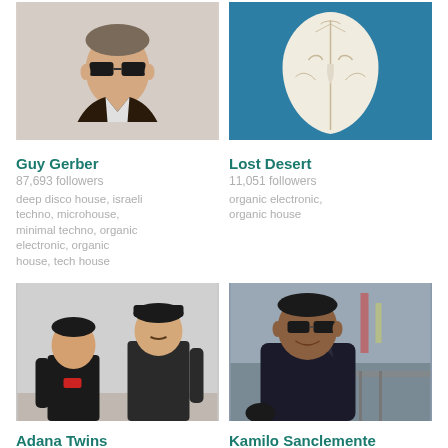[Figure (photo): Photo of Guy Gerber, man with sunglasses and leather jacket]
Guy Gerber
87,693 followers
deep disco house, israeli techno, microhouse, minimal techno, organic electronic, organic house, tech house
[Figure (photo): Photo of Lost Desert, a decorative mask on teal background]
Lost Desert
11,051 followers
organic electronic, organic house
[Figure (photo): Photo of Adana Twins, two men in black clothing]
Adana Twins
93,934 followers
[Figure (photo): Photo of Kamilo Sanclemente, man with sunglasses on a street]
Kamilo Sanclemente
11,620 followers